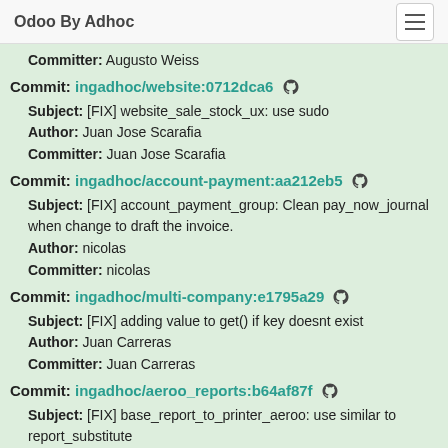Odoo By Adhoc
Committer: Augusto Weiss
Commit: ingadhoc/website:0712dca6
Subject: [FIX] website_sale_stock_ux: use sudo
Author: Juan Jose Scarafia
Committer: Juan Jose Scarafia
Commit: ingadhoc/account-payment:aa212eb5
Subject: [FIX] account_payment_group: Clean pay_now_journal when change to draft the invoice.
Author: nicolas
Committer: nicolas
Commit: ingadhoc/multi-company:e1795a29
Subject: [FIX] adding value to get() if key doesnt exist
Author: Juan Carreras
Committer: Juan Carreras
Commit: ingadhoc/aeroo_reports:b64af87f
Subject: [FIX] base_report_to_printer_aeroo: use similar to report_substitute